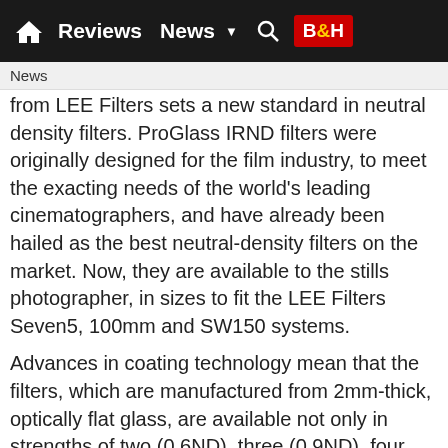Reviews  News  BH
News
from LEE Filters sets a new standard in neutral density filters. ProGlass IRND filters were originally designed for the film industry, to meet the exacting needs of the world's leading cinematographers, and have already been hailed as the best neutral-density filters on the market. Now, they are available to the stills photographer, in sizes to fit the LEE Filters Seven5, 100mm and SW150 systems.
Advances in coating technology mean that the filters, which are manufactured from 2mm-thick, optically flat glass, are available not only in strengths of two (0.6ND), three (0.9ND), four (1.2ND) and six (1.8ND) stops, but also in ultra-long 10 (3ND) and 15-stop (4.5ND) versions. Not only this, but all filters in the range – whatever their strength – are designed to be